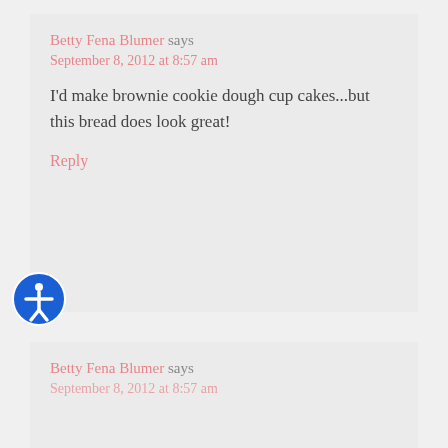Betty Fena Blumer says
September 8, 2012 at 8:57 am
I'd make brownie cookie dough cup cakes...but this bread does look great!
Reply
Betty Fena Blumer says
September 8, 2012 at 8:57 am